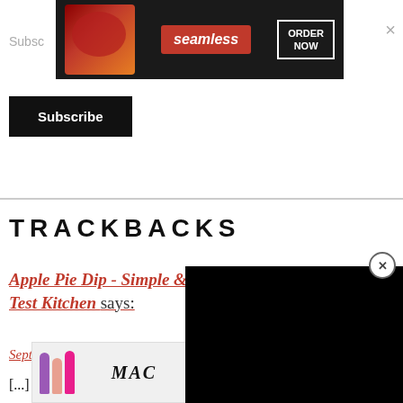[Figure (screenshot): Seamless food delivery advertisement banner with food image, Seamless red badge, and ORDER NOW button]
Subsc
Subscribe
TRACKBACKS
Apple Pie Dip - Simple [...]  Test Kitchen says:
September 10, 2020 at [...]
[...] all the flavors of apple pie without all of the work! Serve this Apple Pie Dip with your favorite Cinnamon Chips. stuffed in [...] en waff[...] g.
[Figure (screenshot): Black video player overlay with close button]
[Figure (screenshot): MAC cosmetics advertisement with lipsticks, MAC logo, SHOP NOW button]